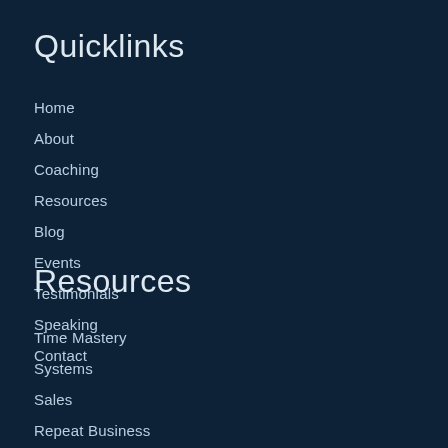Quicklinks
Home
About
Coaching
Resources
Blog
Events
Testimonials
Speaking
Contact
Resources
Time Mastery
Systems
Sales
Repeat Business
Profit Margins
Mindset